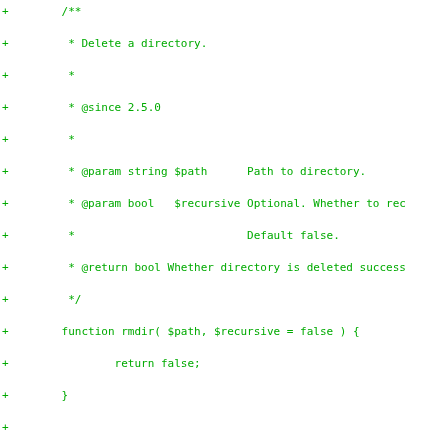Code diff showing PHP docblock comments and function definitions for rmdir and directory listing functions